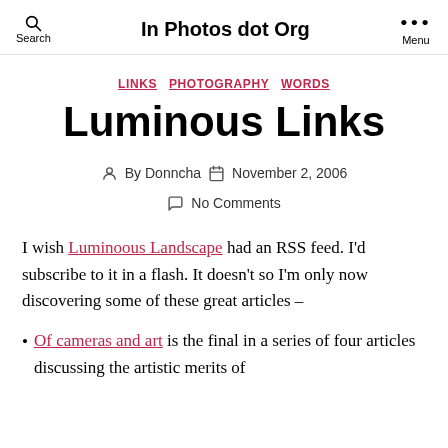Search | In Photos dot Org | Menu
LINKS  PHOTOGRAPHY  WORDS
Luminous Links
By Donncha  November 2, 2006  No Comments
I wish Luminoous Landscape had an RSS feed. I’d subscribe to it in a flash. It doesn’t so I’m only now discovering some of these great articles –
Of cameras and art is the final in a series of four articles discussing the artistic merits of